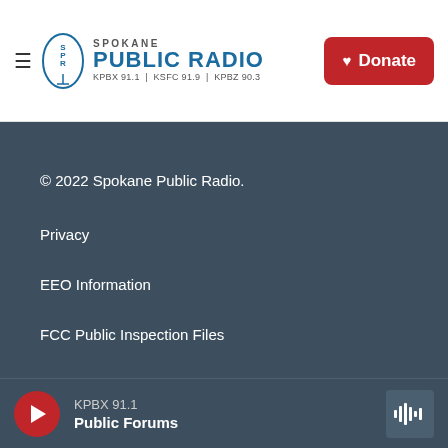Spokane Public Radio — KPBX 91.1 | KSFC 91.9 | KPBZ 90.3 — Donate
© 2022 Spokane Public Radio.
Privacy
EEO Information
FCC Public Inspection Files
About
KPBX 91.1 — Public Forums